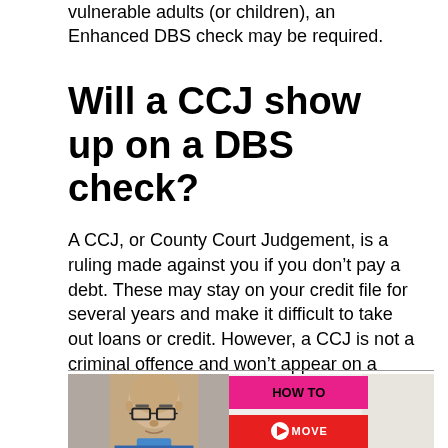vulnerable adults (or children), an Enhanced DBS check may be required.
Will a CCJ show up on a DBS check?
A CCJ, or County Court Judgement, is a ruling made against you if you don’t pay a debt. These may stay on your credit file for several years and make it difficult to take out loans or credit. However, a CCJ is not a criminal offence and won’t appear on a DBS certificate.
[Figure (photo): Thumbnail image showing a bald man with glasses on the left, and a pink/red banner overlay on the right reading HOW TO and MOVE, resembling a YouTube video thumbnail.]